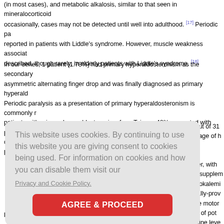(in most cases), and metabolic alkalosis, similar to that seen in mineralocorticoid occasionally, cases may not be detected until well into adulthood. [17] Periodic pa reported in patients with Liddle's syndrome. However, muscle weakness associat described, though rarely, in elderly patients with Liddle's syndrome. [18]
In our series, 1 patient (1.78%) had primary hyperaldosteronism as the secondary asymmetric alternating finger drop and was finally diagnosed as primary hyperald Periodic paralysis as a presentation of primary hyperaldosteronism is commonly r patients with primary hyperaldosteronism from Taiwan, 42% presented with perio oriental series, 21 of 43 cases (49%) of primary hyperaldosteronism presented wi 3 out of 31 entage of h fever, with um supplem hypokalemi gically-prov pure motor tion of pot lamine leve
leading to intracellular shift of potassium. [22]
[Figure (screenshot): Cookie consent overlay banner with text 'This website uses cookies. By continuing to use this website you are giving consent to cookies being used. For information on cookies and how you can disable them visit our Privacy and Cookie Policy.' and a red 'AGREE & PROCEED' button.]